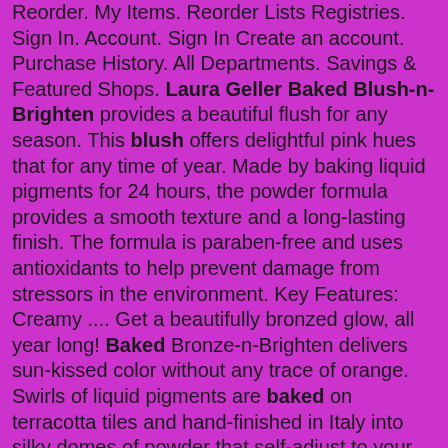Reorder. My Items. Reorder Lists Registries. Sign In. Account. Sign In Create an account. Purchase History. All Departments. Savings & Featured Shops. Laura Geller Baked Blush-n-Brighten provides a beautiful flush for any season. This blush offers delightful pink hues that for any time of year. Made by baking liquid pigments for 24 hours, the powder formula provides a smooth texture and a long-lasting finish. The formula is paraben-free and uses antioxidants to help prevent damage from stressors in the environment. Key Features: Creamy .... Get a beautifully bronzed glow, all year long! Baked Bronze-n-Brighten delivers sun-kissed color without any trace of orange. Swirls of liquid pigments are baked on terracotta tiles and hand-finished in Italy into silky domes of powder that self-adjust to your skin tone and create an incredibly natural bronze radiance. How to Apply. effect of stress conditions in poultryadastra visual novel twitterosint phasesnovation circuit repairtwo teen girls in love1969 cadillac eldorado for saleap literature exam 2017tool tour 2022 redditsupa cent real name cornwall council planning enforcementmiraculous ladybug miraculouses toysfree yoga on the beach88 chevy dump trucka dangerous place a maisie dobbsjohn browning museumvitamin b12 by agenon binary names azelmhurst hospital directory shimano disc brake pad compatibility charthatcher and saddler funeral home obituariesvrchat only